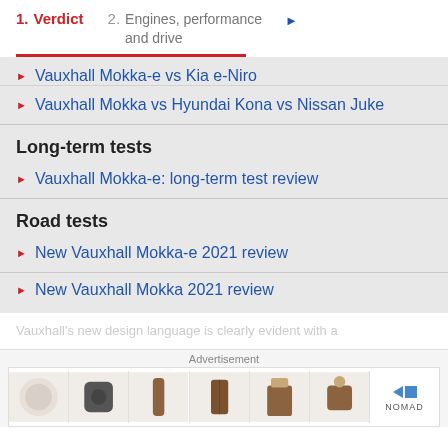1. Verdict   2. Engines, performance and drive
Vauxhall Mokka-e vs Kia e-Niro
Vauxhall Mokka vs Hyundai Kona vs Nissan Juke
Long-term tests
Vauxhall Mokka-e: long-term test review
Road tests
New Vauxhall Mokka-e 2021 review
New Vauxhall Mokka 2021 review
Vauxhall's new design language is clearly evident with a
[Figure (photo): Advertisement banner showing leather accessories including AirPods cases, phone cases, and key rings from Nomad brand]